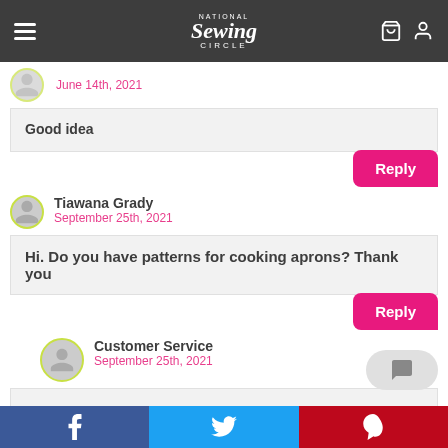National Sewing Circle
June 14th, 2021
Good idea
Reply
Tiawana Grady
September 25th, 2021
Hi. Do you have patterns for cooking aprons? Thank you
Reply
Customer Service
September 25th, 2021
f  twitter  p